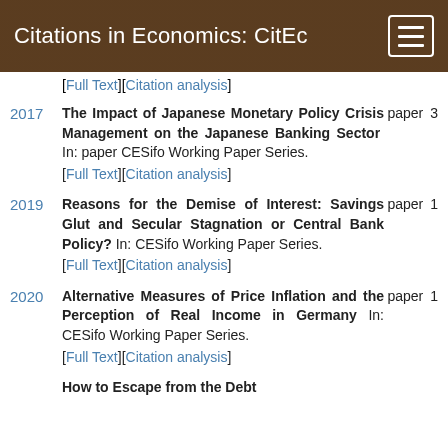Citations in Economics: CitEc
[Full Text][Citation analysis]
2017 | The Impact of Japanese Monetary Policy Crisis Management on the Japanese Banking Sector In: paper CESifo Working Paper Series. [Full Text][Citation analysis] 3
2019 | Reasons for the Demise of Interest: Savings Glut and Secular Stagnation or Central Bank Policy? In: CESifo Working Paper Series. [Full Text][Citation analysis] paper 1
2020 | Alternative Measures of Price Inflation and the Perception of Real Income in Germany In: CESifo Working Paper Series. [Full Text][Citation analysis] paper 1
How to Escape from the Debt